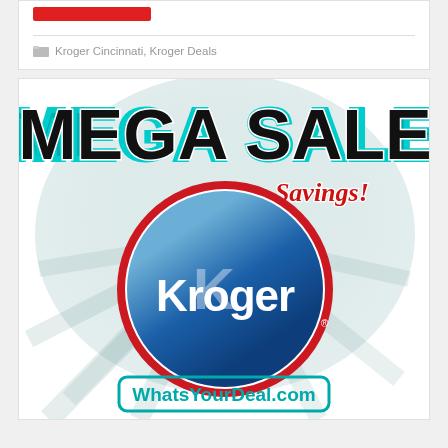[Figure (logo): Red button/bar element at top of card]
Kroger Cincinnati, Kroger Deals
[Figure (illustration): Kroger Mega Sale promotional image with text 'MEGA SALE', 'Huge Savings!', Kroger logo circle, and 'WhatsYourDeal.com' text at bottom]